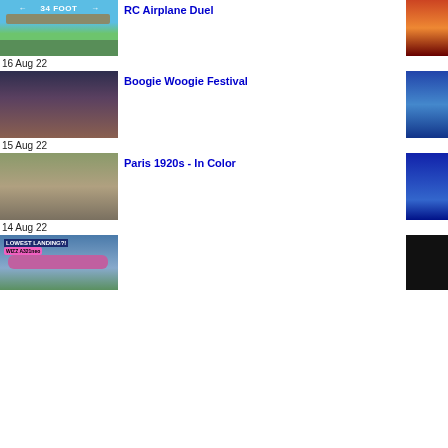[Figure (photo): RC airplane with '34 FOOT' text overlay, crowd visible below, outdoor airshow setting]
RC Airplane Duel
16 Aug 22
[Figure (photo): Two people dancing swing/boogie woogie on stage with colorful lighting]
Boogie Woogie Festival
15 Aug 22
[Figure (photo): Person wearing a cloche hat in vintage 1920s style Paris setting, colorized]
Paris 1920s - In Color
14 Aug 22
[Figure (photo): Wizz Air A321neo airplane with 'LOWEST LANDING?! WIZZ A321neo' text overlay]